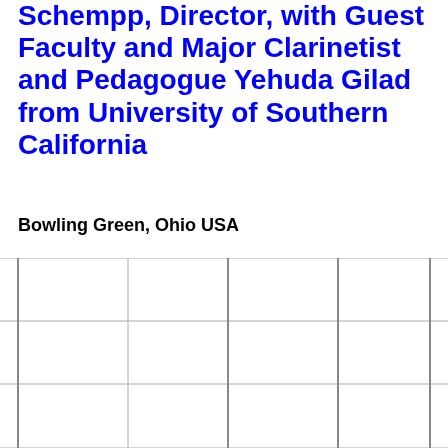Schempp, Director, with Guest Faculty and Major Clarinetist and Pedagogue Yehuda Gilad from University of Southern California
Bowling Green, Ohio USA
[Figure (other): A grid of empty cells arranged in 3 rows and 4 columns, bordered by vertical lines on each column edge and horizontal lines between rows.]